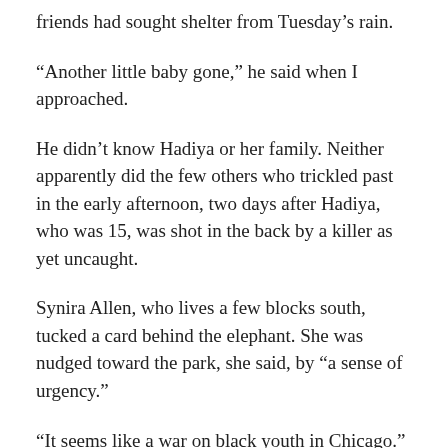friends had sought shelter from Tuesday’s rain.
“Another little baby gone,” he said when I approached.
He didn’t know Hadiya or her family. Neither apparently did the few others who trickled past in the early afternoon, two days after Hadiya, who was 15, was shot in the back by a killer as yet uncaught.
Synira Allen, who lives a few blocks south, tucked a card behind the elephant. She was nudged toward the park, she said, by “a sense of urgency.”
“It seems like a war on black youth in Chicago.”
The war isn’t new, and you could argue that it’s not really worse than ever; it only feels that way lately. Allen, who remembers the organized gangs that